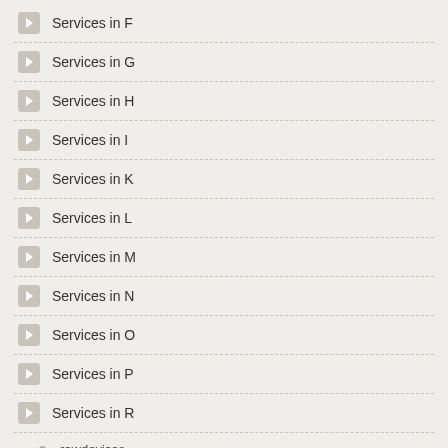Services in F
Services in G
Services in H
Services in I
Services in K
Services in L
Services in M
Services in N
Services in O
Services in P
Services in R
rawdevices
readahead